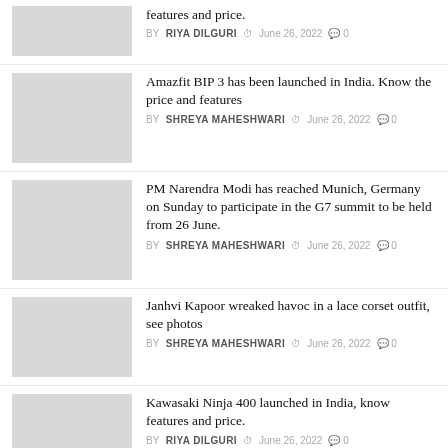features and price.
BY RIYA DILGURI  June 26, 2022  0
Amazfit BIP 3 has been launched in India. Know the price and features
BY SHREYA MAHESHWARI  June 26, 2022  0
PM Narendra Modi has reached Munich, Germany on Sunday to participate in the G7 summit to be held from 26 June.
BY SHREYA MAHESHWARI  June 26, 2022  0
Janhvi Kapoor wreaked havoc in a lace corset outfit, see photos
BY SHREYA MAHESHWARI  June 26, 2022  0
Kawasaki Ninja 400 launched in India, know features and price.
BY RIYA DILGURI  June 26, 2022  0
Nothing Phone (1) will be launched in India soon,